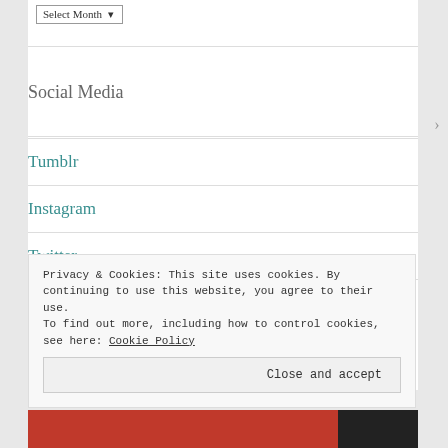Select Month
Social Media
Tumblr
Instagram
Twitter
Pinterest
Privacy & Cookies: This site uses cookies. By continuing to use this website, you agree to their use.
To find out more, including how to control cookies, see here: Cookie Policy
Close and accept